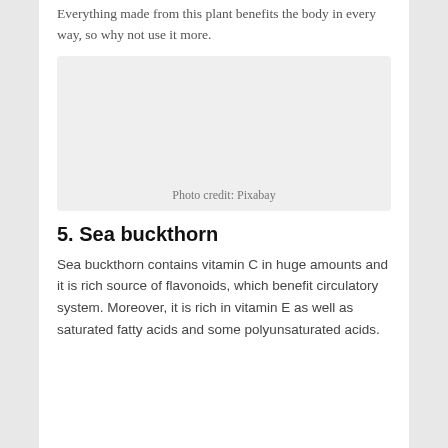Everything made from this plant benefits the body in every way, so why not use it more.
[Figure (photo): Placeholder image with photo credit: Pixabay]
Photo credit: Pixabay
5. Sea buckthorn
Sea buckthorn contains vitamin C in huge amounts and it is rich source of flavonoids, which benefit circulatory system. Moreover, it is rich in vitamin E as well as saturated fatty acids and some polyunsaturated acids.